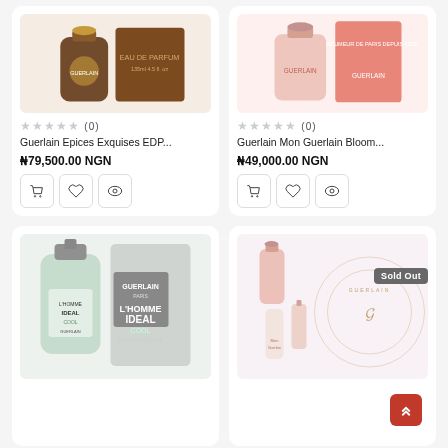[Figure (photo): Guerlain Epices Exquises EDP perfume bottle and box]
★★★★★ (0)
Guerlain Epices Exquises EDP...
₦79,500.00 NGN
[Figure (photo): Guerlain Mon Guerlain Bloom perfume bottle and pink box]
★★★★★ (0)
Guerlain Mon Guerlain Bloom...
₦49,000.00 NGN
[Figure (photo): Guerlain L'Homme Ideal Cool Eau de Toilette bottle and box]
[Figure (photo): Guerlain gift set with Mon Guerlain items, Sold Out badge]